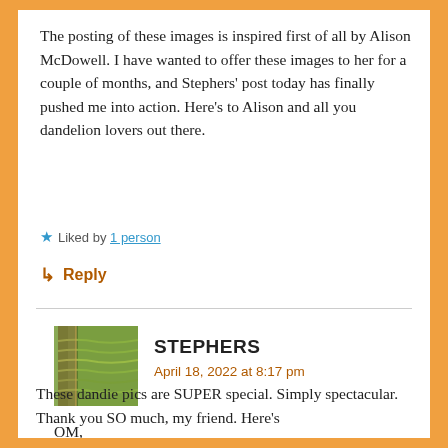The posting of these images is inspired first of all by Alison McDowell. I have wanted to offer these images to her for a couple of months, and Stephers' post today has finally pushed me into action. Here's to Alison and all you dandelion lovers out there.
★ Liked by 1 person
↳ Reply
STEPHERS
April 18, 2022 at 8:17 pm
[Figure (photo): Avatar thumbnail showing a field of dandelions or green plants from an aerial or close-up view]
OM,
These dandie pics are SUPER special. Simply spectacular. Thank you SO much, my friend. Here's